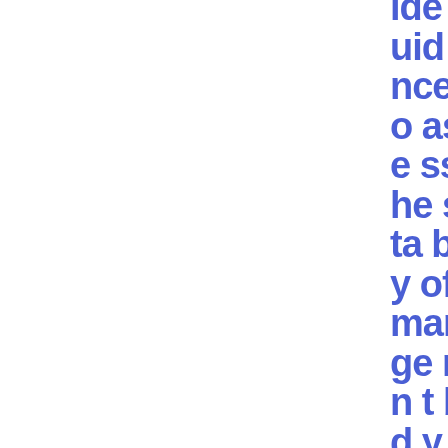ide guidance to assess the suitability of management body members and key function
MiFID - Investor Protection
Press Releases